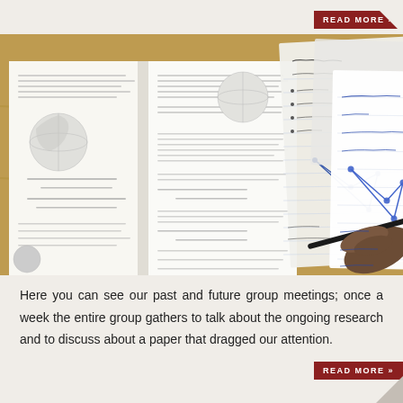READ MORE »
[Figure (photo): Photo of an open textbook with diagrams and equations on a wooden desk, alongside handwritten notes with diagrams, and a hand holding a pen writing on white paper.]
Here you can see our past and future group meetings; once a week the entire group gathers to talk about the ongoing research and to discuss about a paper that dragged our attention.
READ MORE »